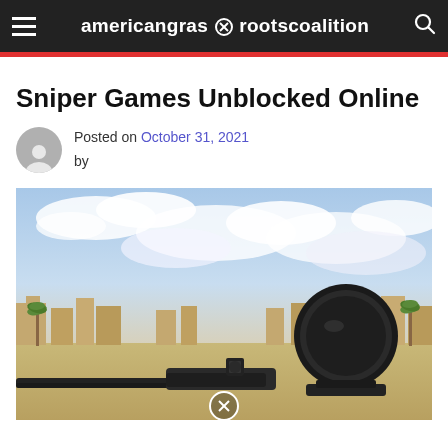americangrassrootscoalition
Sniper Games Unblocked Online
Posted on October 31, 2021 by
[Figure (screenshot): Screenshot of a sniper game showing a first-person view through iron sights of a sniper rifle, with a desert cityscape background featuring palm trees and square buildings under a cloudy sky.]